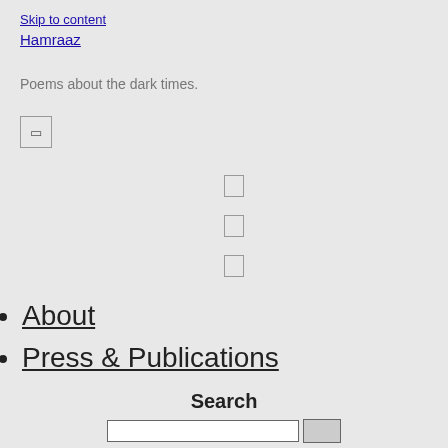Skip to content
Hamraaz
Poems about the dark times.
[Figure (other): Menu toggle button (square icon button)]
[Figure (other): Three horizontal bar icons stacked vertically (hamburger menu indicators)]
About
Press & Publications
Search